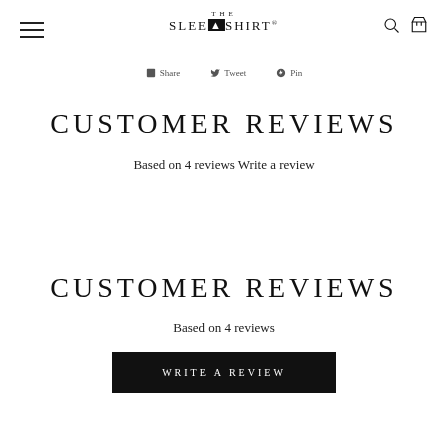THE SLEEP SHIRT®
Share  Tweet  Pin
CUSTOMER REVIEWS
Based on 4 reviews Write a review
CUSTOMER REVIEWS
Based on 4 reviews
WRITE A REVIEW